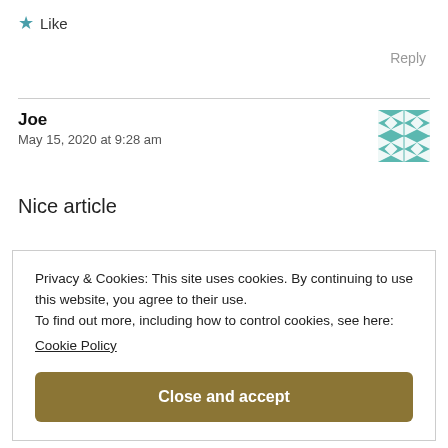★ Like
Reply
Joe
May 15, 2020 at 9:28 am
[Figure (illustration): Teal and white geometric quilt-pattern avatar icon]
Nice article
Privacy & Cookies: This site uses cookies. By continuing to use this website, you agree to their use.
To find out more, including how to control cookies, see here:
Cookie Policy
Close and accept